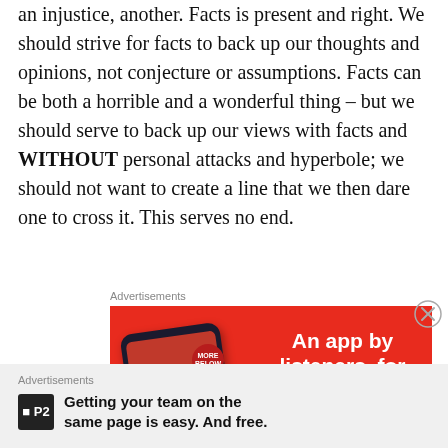an injustice, another. Facts is present and right. We should strive for facts to back up our thoughts and opinions, not conjecture or assumptions. Facts can be both a horrible and a wonderful thing – but we should serve to back up our views with facts and WITHOUT personal attacks and hyperbole; we should not want to create a line that we then dare one to cross it. This serves no end.
Advertisements
[Figure (illustration): Red advertisement banner for a podcast app called 'Distributed'. Shows a smartphone displaying the app with bold serif text 'Dis-trib-uted' on a red background. Right side has bold white text 'An app by listeners, for listeners.' with a dark red 'Download now' button.]
Advertisements
[Figure (logo): P2 app logo — black square with white letter P and a dash, next to bold text 'Getting your team on the same page is easy. And free.']